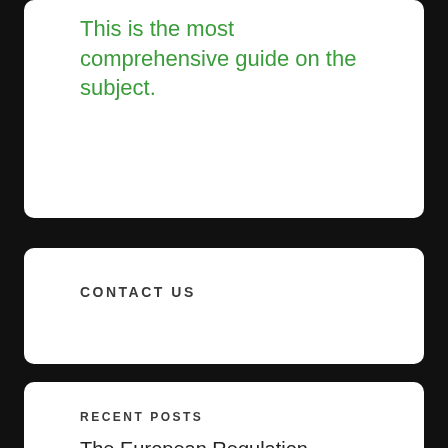This is the most comprehensive guide on the subject.
CONTACT US
RECENT POSTS
The European Regulation Students' Connections
June 10, 2022